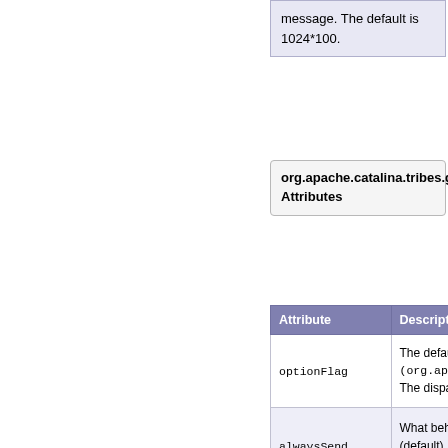| message. The default is 1024*100. |
org.apache.catalina.tribes.group Attributes
| Attribute | Description |
| --- | --- |
| optionFlag | The defau (org.apa The dispa |
| alwaysSend | What beh (default), t thrown. |
| maxQueueSize | Size in by (64MB) se fills up, or message w |
| maxThreads | The maxir |
| maxSpareThreads | The numb |